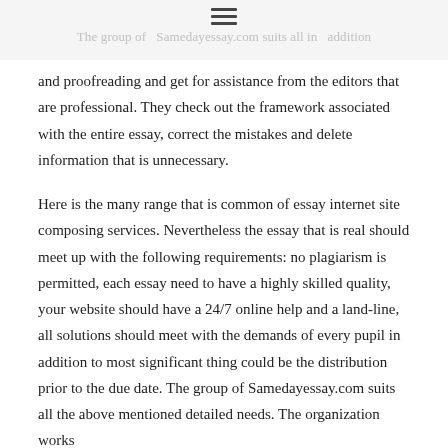The group of Samedayessay.com suits all in addition
and proofreading and get for assistance from the editors that are professional. They check out the framework associated with the entire essay, correct the mistakes and delete information that is unnecessary.
Here is the many range that is common of essay internet site composing services. Nevertheless the essay that is real should meet up with the following requirements: no plagiarism is permitted, each essay need to have a highly skilled quality, your website should have a 24/7 online help and a land-line, all solutions should meet with the demands of every pupil in addition to most significant thing could be the distribution prior to the due date. The group of Samedayessay.com suits all the above mentioned detailed needs. The organization works